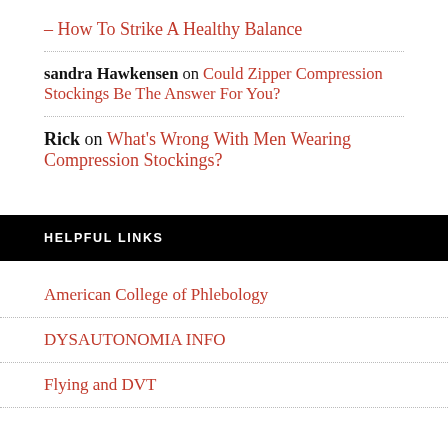– How To Strike A Healthy Balance
sandra Hawkensen on Could Zipper Compression Stockings Be The Answer For You?
Rick on What's Wrong With Men Wearing Compression Stockings?
HELPFUL LINKS
American College of Phlebology
DYSAUTONOMIA INFO
Flying and DVT